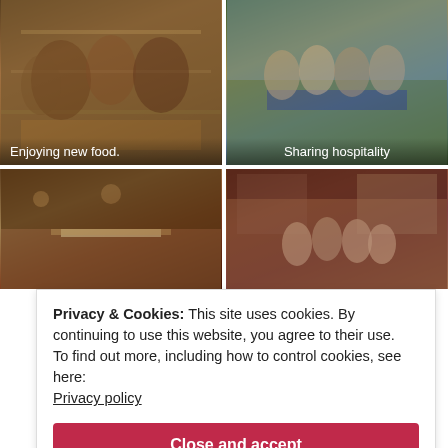[Figure (photo): People sitting at a long table enjoying a meal indoors, with food and drinks on the table.]
Enjoying new food.
[Figure (photo): Group of people standing and sitting outdoors around a table with a blue tablecloth, smiling.]
Sharing hospitality
[Figure (photo): Interior of a large hall set up for a banquet with long white-clothed tables and chairs.]
[Figure (photo): Group of people indoors in a wooden-paneled room, posing together and smiling.]
Privacy & Cookies: This site uses cookies. By continuing to use this website, you agree to their use.
To find out more, including how to control cookies, see here:
Privacy policy
Close and accept
Follow